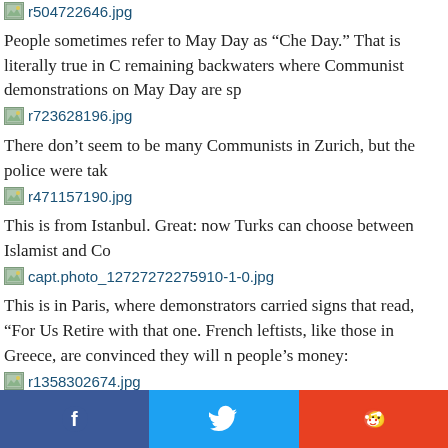[Figure (other): Image link: r504722646.jpg]
People sometimes refer to May Day as “Che Day.” That is literally true in C remaining backwaters where Communist demonstrations on May Day are sp
[Figure (other): Image link: r723628196.jpg]
There don’t seem to be many Communists in Zurich, but the police were tak
[Figure (other): Image link: r471157190.jpg]
This is from Istanbul. Great: now Turks can choose between Islamist and Co
[Figure (other): Image link: capt.photo_12727272275910-1-0.jpg]
This is in Paris, where demonstrators carried signs that read, “For Us Retire with that one. French leftists, like those in Greece, are convinced they will n people’s money:
[Figure (other): Image link: r1358302674.jpg]
Maybe you have to be French not to notice how dumb this is; the sign says,
[Figure (other): Image link: r3456425479.jpg]
The most ominous scenes, reminiscent of the 1930s, were in Berlin, where d wing demonstrations led to sporadic violence:
[Figure (other): Image link: r4256617424.jpg]
Given how dishonorable the history of May Day has been, it seems surprisin advocates of illegal immigration have adopted it as their own. For some re
Facebook  Twitter  Reddit